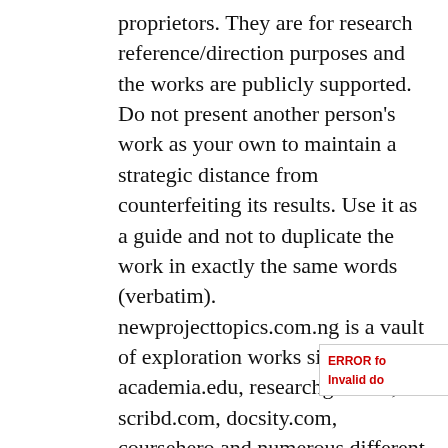proprietors. They are for research reference/direction purposes and the works are publicly supported. Do not present another person's work as your own to maintain a strategic distance from counterfeiting its results. Use it as a guide and not to duplicate the work in exactly the same words (verbatim). newprojecttopics.com.ng is a vault of exploration works simply like academia.edu, researchgate.net, scribd.com, docsity.com, coursehero and numerous different stages where clients transfer works. The paid membership on newprojecttopics.com.ng is a method by which the site is kept up to he Open Education. In the event that you see your work posted here, and you need it to